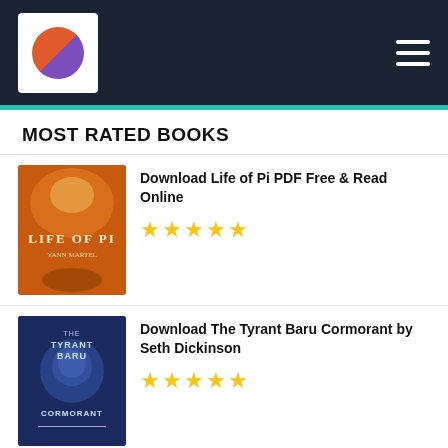MOST RATED BOOKS
Download Life of Pi PDF Free & Read Online — 5 stars
Download The Tyrant Baru Cormorant by Seth Dickinson — 5 stars
Download Laila by Avril Vives — 0 stars
Download Three Day Road [pdf,epub,mobi] by Joseph Boyden